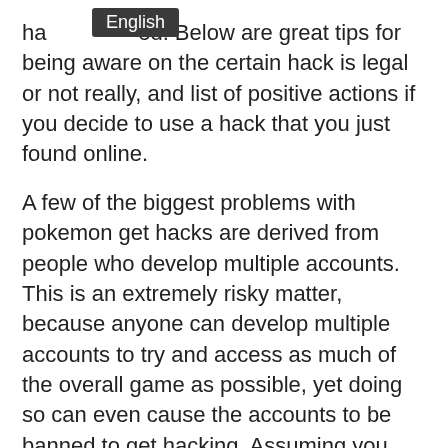ha[English tooltip]ed. Below are great tips for being aware on the certain hack is legal or not really, and list of positive actions if you decide to use a hack that you just found online.

A few of the biggest problems with pokemon get hacks are derived from people who develop multiple accounts. This is an extremely risky matter, because anyone can develop multiple accounts to try and access as much of the overall game as possible, yet doing so can even cause the accounts to be banned to get hacking. Assuming you have several accounts, and you are hacked, then https://virtuadata.com/top-ways-to-hack-pokemon-go/ you will have to commence all over again, and probably begin from square one particular, which means a lost evening of work and an almost misplaced